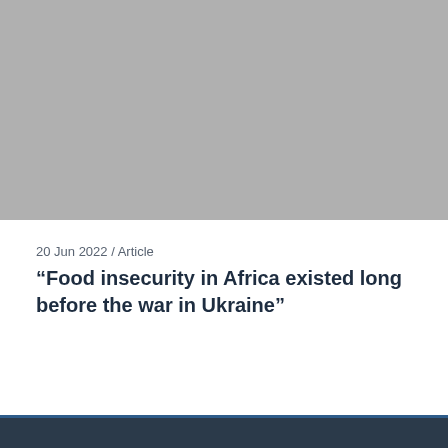[Figure (photo): Placeholder grey image block at the top of the card]
20 Jun 2022 / Article
“Food insecurity in Africa existed long before the war in Ukraine”